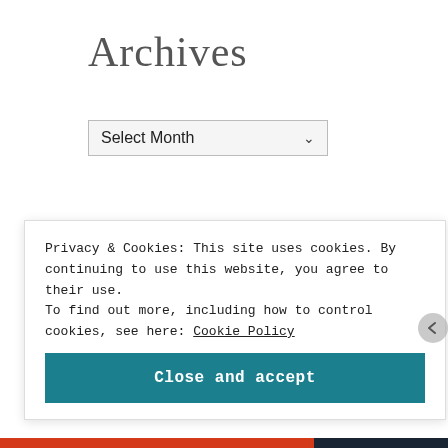Archives
Select Month
[Figure (logo): Advertisement block with P2 logo on dark square background]
Privacy & Cookies: This site uses cookies. By continuing to use this website, you agree to their use. To find out more, including how to control cookies, see here: Cookie Policy
Close and accept